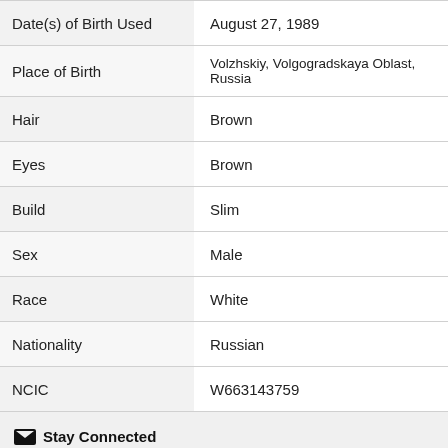| Field | Value |
| --- | --- |
| Date(s) of Birth Used | August 27, 1989 |
| Place of Birth | Volzhskiy, Volgogradskaya Oblast, Russia |
| Hair | Brown |
| Eyes | Brown |
| Build | Slim |
| Sex | Male |
| Race | White |
| Nationality | Russian |
| NCIC | W663143759 |
Stay Connected
Get FBI email alerts
Subscribe
No Thanks